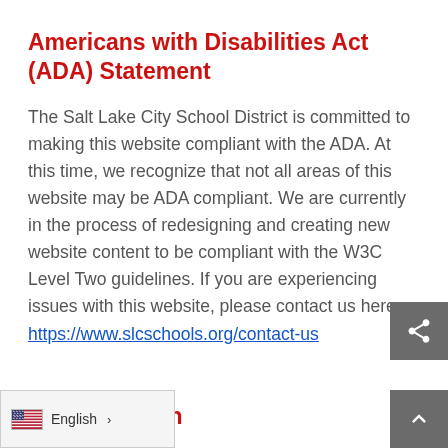Americans with Disabilities Act (ADA) Statement
The Salt Lake City School District is committed to making this website compliant with the ADA. At this time, we recognize that not all areas of this website may be ADA compliant. We are currently in the process of redesigning and creating new website content to be compliant with the W3C Level Two guidelines. If you are experiencing issues with this website, please contact us here: https://www.slcschools.org/contact-us
…l Resolution